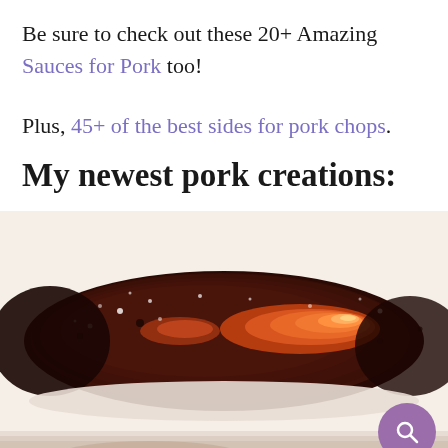Be sure to check out these 20+ Amazing Sauces for Pork too!
Plus, 45+ of the best sides for pork chops.
My newest pork creations:
[Figure (photo): Close-up photo of a spice-rubbed pork cut, dark reddish-brown crust with orange-red glowing meat visible, on a light background. A second food image partially visible at bottom.]